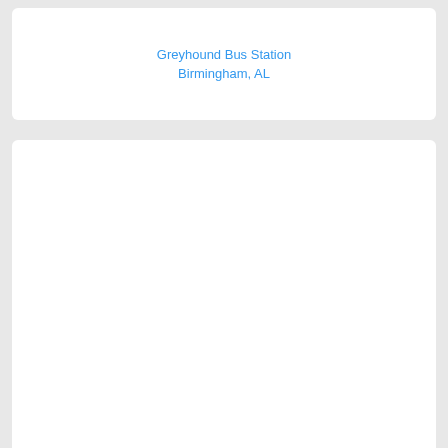Greyhound Bus Station
Birmingham, AL
[Figure (photo): Photo card for Greyhound Bus Station, Birmingham, AL — blank white image placeholder]
Shamrock Motor Lodge - 8420...
Birmingham, AL
[Figure (photo): Photo card for Shamrock Motor Lodge, Birmingham, AL — blank white image placeholder]
[Figure (photo): Third photo card, partially visible at bottom of page]